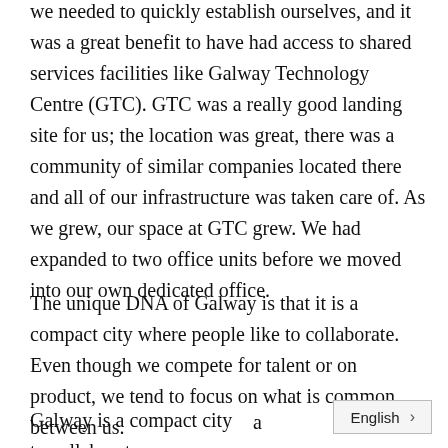we needed to quickly establish ourselves, and it was a great benefit to have had access to shared services facilities like Galway Technology Centre (GTC). GTC was a really good landing site for us; the location was great, there was a community of similar companies located there and all of our infrastructure was taken care of. As we grew, our space at GTC grew. We had expanded to two office units before we moved into our own dedicated office.
The unique DNA of Galway is that it is a compact city where people like to collaborate. Even though we compete for talent or on product, we tend to focus on what is common between us.
Galway is a compact city to collaborate … a